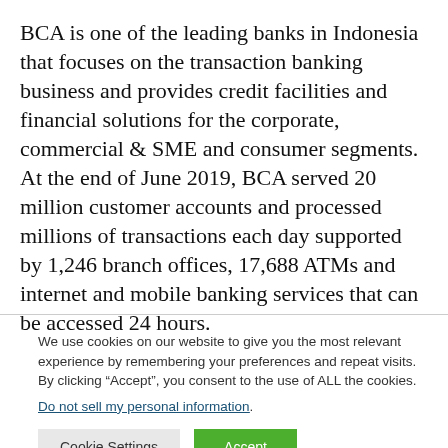BCA is one of the leading banks in Indonesia that focuses on the transaction banking business and provides credit facilities and financial solutions for the corporate, commercial & SME and consumer segments. At the end of June 2019, BCA served 20 million customer accounts and processed millions of transactions each day supported by 1,246 branch offices, 17,688 ATMs and internet and mobile banking services that can be accessed 24 hours.
We use cookies on our website to give you the most relevant experience by remembering your preferences and repeat visits. By clicking “Accept”, you consent to the use of ALL the cookies. Do not sell my personal information.